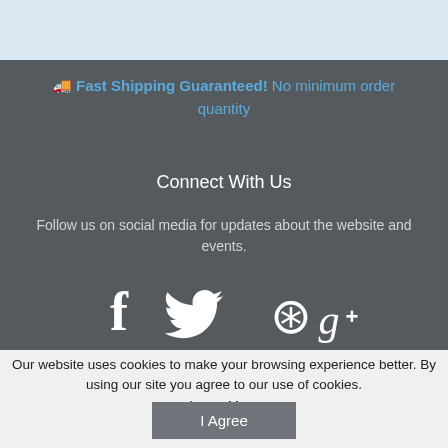🚚 Fast Shipping Guaranteed! No minimum order quantity
Connect With Us
Follow us on social media for updates about the website and events.
[Figure (illustration): Social media icons: Facebook, Twitter, Pinterest, Google+]
Our website uses cookies to make your browsing experience better. By using our site you agree to our use of cookies. Learn More
I Agree